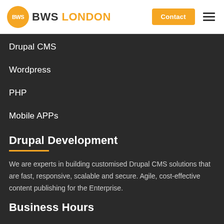BWS LONDON — Contact
Drupal CMS
Wordpress
PHP
Mobile APPs
Drupal Development
We are experts in building customised Drupal CMS solutions that are fast, responsive, scalable and secure. Agile, cost-effective content publishing for the Enterprise.
Business Hours